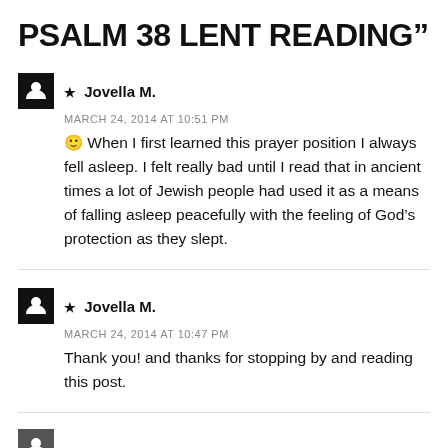PSALM 38 LENT READING”
★ Jovella M.
MARCH 24, 2014 AT 10:51 PM
🙂 When I first learned this prayer position I always fell asleep. I felt really bad until I read that in ancient times a lot of Jewish people had used it as a means of falling asleep peacefully with the feeling of God’s protection as they slept.
★ Jovella M.
MARCH 24, 2014 AT 10:47 PM
Thank you! and thanks for stopping by and reading this post.